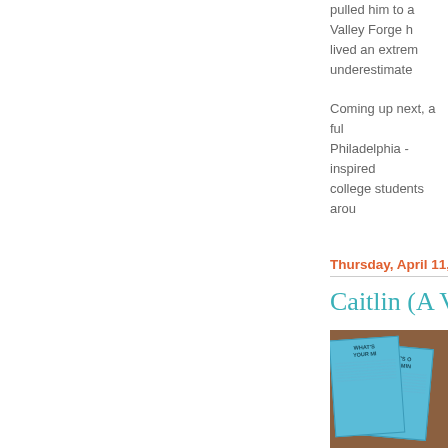pulled him to a Valley Forge h lived an extrem underestimate
Coming up next, a ful Philadelphia - inspired college students arou
Thursday, April 11, 20
Caitlin (A Vo
[Figure (photo): Photo of blue pamphlets/brochures on a wooden surface, with text 'WHAT'S ON YOUR MIND' visible on them]